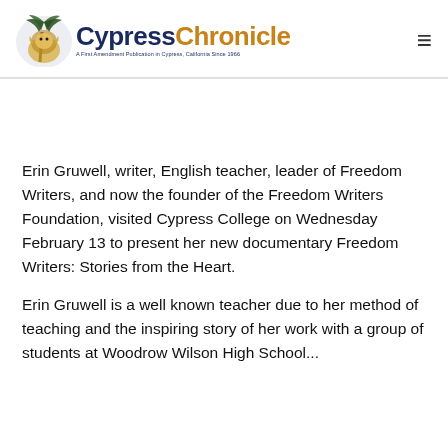Cypress Chronicle — A First Amendment Publication in Cypress, California Since 1966
Erin Gruwell, writer, English teacher, leader of Freedom Writers, and now the founder of the Freedom Writers Foundation, visited Cypress College on Wednesday February 13 to present her new documentary Freedom Writers: Stories from the Heart.
Erin Gruwell is a well known teacher due to her method of teaching and the inspiring story of her work with a group of students at Woodrow Wilson High School...